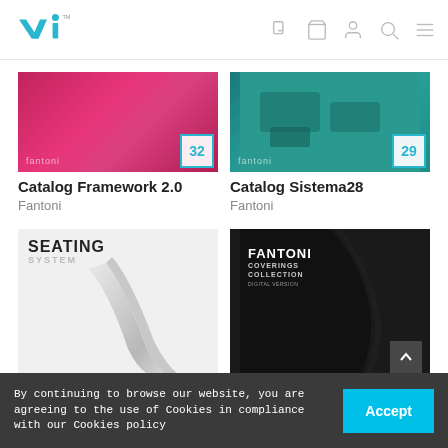[Figure (screenshot): Website header with blue 'vi' logo on left and navigation icons (bookmark/heart, cart, user, search, menu) on right in gray]
[Figure (photo): Catalog Framework 2.0 thumbnail - magenta/pink geometric background with page count badge '32' and 'fantoni' brand text]
Catalog Framework 2.0
Fantoni
[Figure (photo): Catalog Sistema28 thumbnail - teal background with furniture shapes and page count badge '29' and 'fantoni' brand text]
Catalog Sistema28
Fantoni
[Figure (photo): Seating System catalog thumbnail - white/light gray background with 'SEATING SYSTEM' text and metallic chair detail]
[Figure (photo): Fantoni Coverings Collection Digital Version catalog - dark black background with leather texture and white text]
By continuing to browse our website, you are agreeing to the use of Cookies in compliance with our Cookies policy